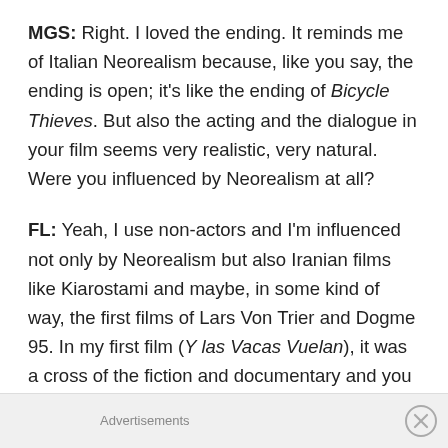MGS: Right. I loved the ending. It reminds me of Italian Neorealism because, like you say, the ending is open; it's like the ending of Bicycle Thieves. But also the acting and the dialogue in your film seems very realistic, very natural. Were you influenced by Neorealism at all?
FL: Yeah, I use non-actors and I'm influenced not only by Neorealism but also Iranian films like Kiarostami and maybe, in some kind of way, the first films of Lars Von Trier and Dogme 95. In my first film (Y las Vacas Vuelan), it was a cross of the fiction and documentary and you couldn't know who is who — who is acting, who is being. It's a mix of real people that are in a film and they don't
Advertisements